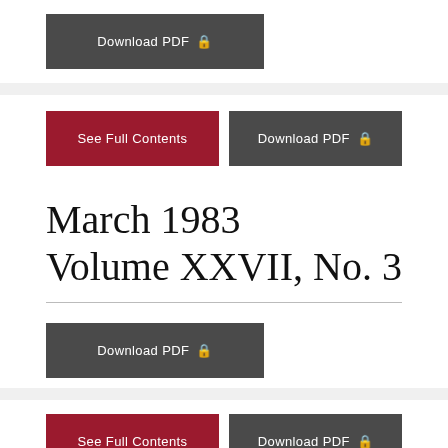[Figure (screenshot): Dark gray Download PDF button with lock icon]
March 1983
Volume XXVII, No. 3
[Figure (screenshot): See Full Contents (red) and Download PDF (dark gray) buttons with lock icon]
[Figure (screenshot): Dark gray Download PDF button with lock icon]
[Figure (screenshot): See Full Contents (red) and Download PDF (dark gray) buttons with lock icon]